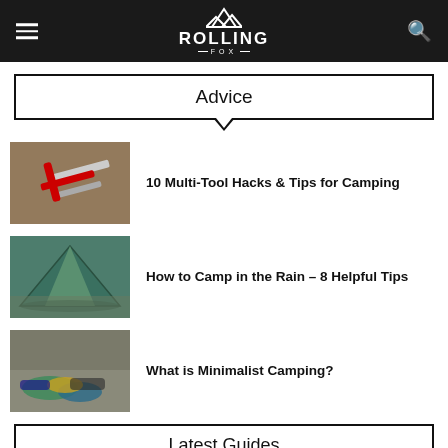ROLLING FOX
Advice
10 Multi-Tool Hacks & Tips for Camping
How to Camp in the Rain – 8 Helpful Tips
What is Minimalist Camping?
Latest Guides